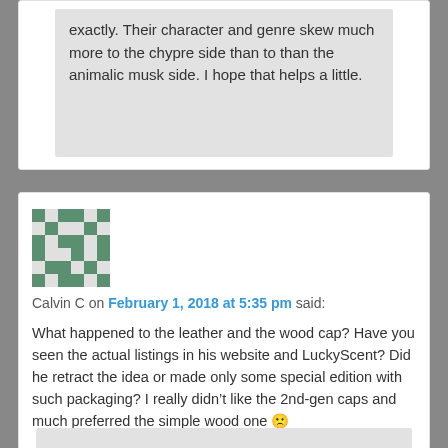exactly. Their character and genre skew much more to the chypre side than to than the animalic musk side. I hope that helps a little.
[Figure (illustration): Gravatar avatar for Calvin C - a green and white pixelated quilt-pattern avatar]
Calvin C on February 1, 2018 at 5:35 pm said:
What happened to the leather and the wood cap? Have you seen the actual listings in his website and LuckyScent? Did he retract the idea or made only some special edition with such packaging? I really didn't like the 2nd-gen caps and much preferred the simple wood one 🙁